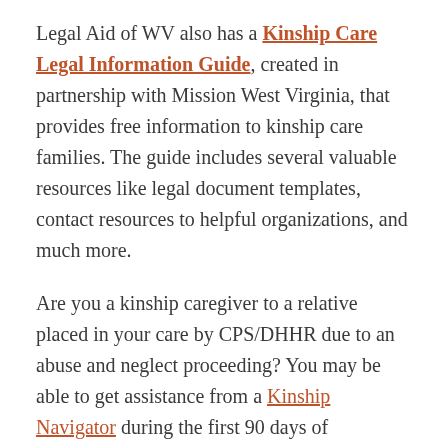Legal Aid of WV also has a Kinship Care Legal Information Guide, created in partnership with Mission West Virginia, that provides free information to kinship care families. The guide includes several valuable resources like legal document templates, contact resources to helpful organizations, and much more.
Are you a kinship caregiver to a relative placed in your care by CPS/DHHR due to an abuse and neglect proceeding? You may be able to get assistance from a Kinship Navigator during the first 90 days of placement.